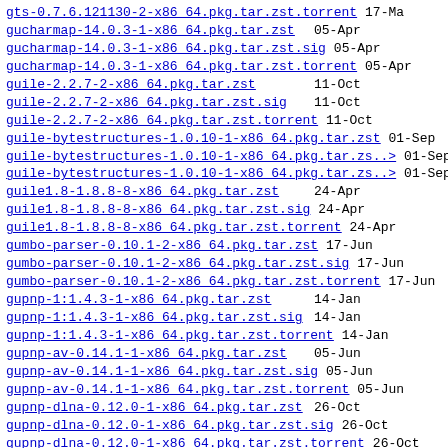gts-0.7.6.121130-2-x86_64.pkg.tar.zst.torrent   17-Ma
gucharmap-14.0.3-1-x86_64.pkg.tar.zst   05-Apr
gucharmap-14.0.3-1-x86_64.pkg.tar.zst.sig   05-Apr
gucharmap-14.0.3-1-x86_64.pkg.tar.zst.torrent   05-Apr
guile-2.2.7-2-x86_64.pkg.tar.zst   11-Oct
guile-2.2.7-2-x86_64.pkg.tar.zst.sig   11-Oct
guile-2.2.7-2-x86_64.pkg.tar.zst.torrent   11-Oct
guile-bytestructures-1.0.10-1-x86_64.pkg.tar.zst   01-Sep
guile-bytestructures-1.0.10-1-x86_64.pkg.tar.zs..>   01-Sep
guile-bytestructures-1.0.10-1-x86_64.pkg.tar.zs..>   01-Sep
guile1.8-1.8.8-8-x86_64.pkg.tar.zst   24-Apr
guile1.8-1.8.8-8-x86_64.pkg.tar.zst.sig   24-Apr
guile1.8-1.8.8-8-x86_64.pkg.tar.zst.torrent   24-Apr
gumbo-parser-0.10.1-2-x86_64.pkg.tar.zst   17-Jun
gumbo-parser-0.10.1-2-x86_64.pkg.tar.zst.sig   17-Jun
gumbo-parser-0.10.1-2-x86_64.pkg.tar.zst.torrent   17-Jun
gupnp-1:1.4.3-1-x86_64.pkg.tar.zst   14-Jan
gupnp-1:1.4.3-1-x86_64.pkg.tar.zst.sig   14-Jan
gupnp-1:1.4.3-1-x86_64.pkg.tar.zst.torrent   14-Jan
gupnp-av-0.14.1-1-x86_64.pkg.tar.zst   05-Jun
gupnp-av-0.14.1-1-x86_64.pkg.tar.zst.sig   05-Jun
gupnp-av-0.14.1-1-x86_64.pkg.tar.zst.torrent   05-Jun
gupnp-dlna-0.12.0-1-x86_64.pkg.tar.zst   26-Oct
gupnp-dlna-0.12.0-1-x86_64.pkg.tar.zst.sig   26-Oct
gupnp-dlna-0.12.0-1-x86_64.pkg.tar.zst.torrent   26-Oct
gupnp-igd-1.2.0-2-x86_64.pkg.tar.zst   26-Oct
gupnp-igd-1.2.0-2-x86_64.pkg.tar.zst.sig   26-Oct
gupnp-igd-1.2.0-2-x86_64.pkg.tar.zst.torrent   26-Oct
gutenprint-5.3.4-1-x86_64.pkg.tar.zst   10-Dec
gutenprint-5.3.4-1-x86_64.pkg.tar.zst.sig   10-Dec